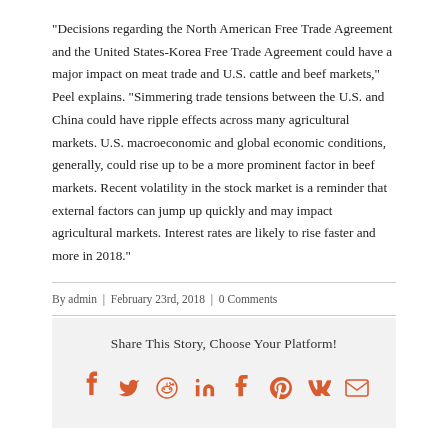“Decisions regarding the North American Free Trade Agreement and the United States-Korea Free Trade Agreement could have a major impact on meat trade and U.S. cattle and beef markets,” Peel explains. “Simmering trade tensions between the U.S. and China could have ripple effects across many agricultural markets. U.S. macroeconomic and global economic conditions, generally, could rise up to be a more prominent factor in beef markets. Recent volatility in the stock market is a reminder that external factors can jump up quickly and may impact agricultural markets. Interest rates are likely to rise faster and more in 2018.”
By admin | February 23rd, 2018 | 0 Comments
Share This Story, Choose Your Platform!